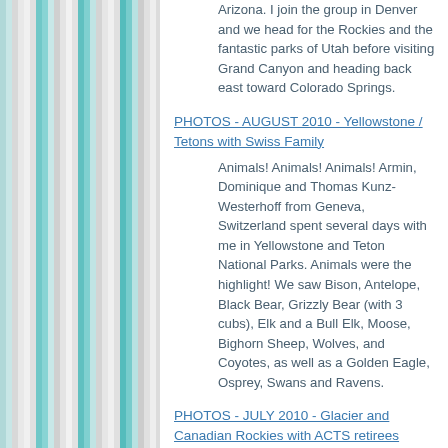Arizona. I join the group in Denver and we head for the Rockies and the fantastic parks of Utah before visiting Grand Canyon and heading back east toward Colorado Springs.
PHOTOS - AUGUST 2010 - Yellowstone / Tetons with Swiss Family
Animals! Animals! Animals! Armin, Dominique and Thomas Kunz-Westerhoff from Geneva, Switzerland spent several days with me in Yellowstone and Teton National Parks. Animals were the highlight! We saw Bison, Antelope, Black Bear, Grizzly Bear (with 3 cubs), Elk and a Bull Elk, Moose, Bighorn Sheep, Wolves, and Coyotes, as well as a Golden Eagle, Osprey, Swans and Ravens.
PHOTOS - JULY 2010 - Glacier and Canadian Rockies with ACTS retirees
July 23 I flew to Philadelphia to collect retirees from various communities and fly them back to Montana along the...